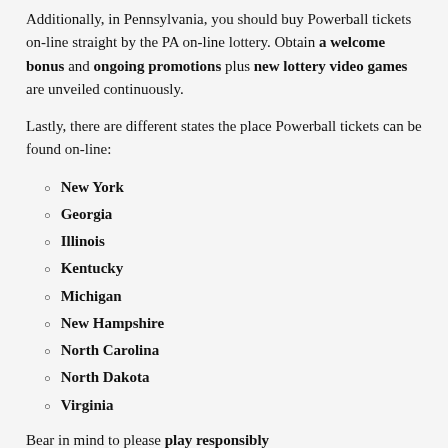Additionally, in Pennsylvania, you should buy Powerball tickets on-line straight by the PA on-line lottery. Obtain a welcome bonus and ongoing promotions plus new lottery video games are unveiled continuously.
Lastly, there are different states the place Powerball tickets can be found on-line:
New York
Georgia
Illinois
Kentucky
Michigan
New Hampshire
North Carolina
North Dakota
Virginia
Bear in mind to please play responsibly